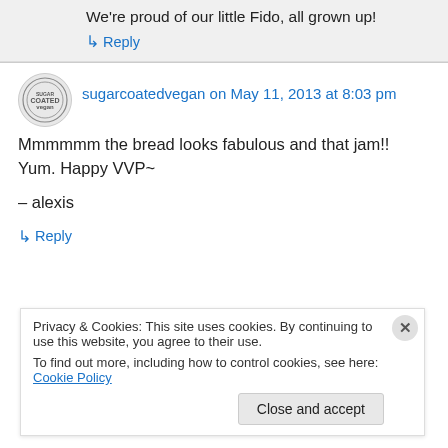We're proud of our little Fido, all grown up!
↳ Reply
sugarcoatedvegan on May 11, 2013 at 8:03 pm
Mmmmmm the bread looks fabulous and that jam!! Yum. Happy VVP~

– alexis
↳ Reply
Privacy & Cookies: This site uses cookies. By continuing to use this website, you agree to their use.
To find out more, including how to control cookies, see here: Cookie Policy
Close and accept